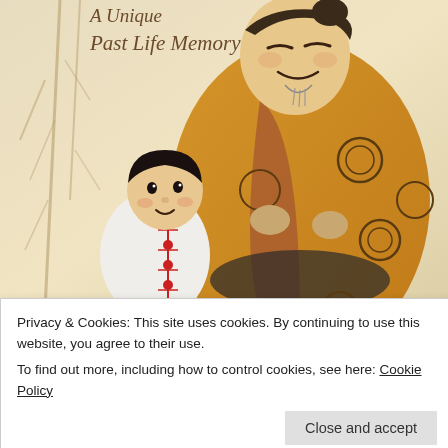[Figure (illustration): Illustrated book cover showing a large smiling elderly Asian man in a yellow robe with decorative symbols, and a small child in a white outfit with red closures. Title text 'A Unique Past Life Memory' appears at top left. Background has pale branches.]
Privacy & Cookies: This site uses cookies. By continuing to use this website, you agree to their use.
To find out more, including how to control cookies, see here: Cookie Policy
Close and accept